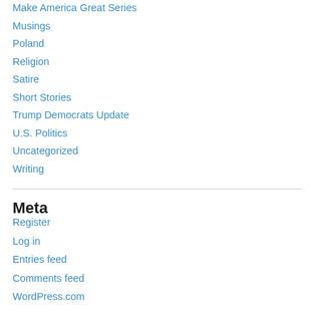Make America Great Series
Musings
Poland
Religion
Satire
Short Stories
Trump Democrats Update
U.S. Politics
Uncategorized
Writing
Meta
Register
Log in
Entries feed
Comments feed
WordPress.com